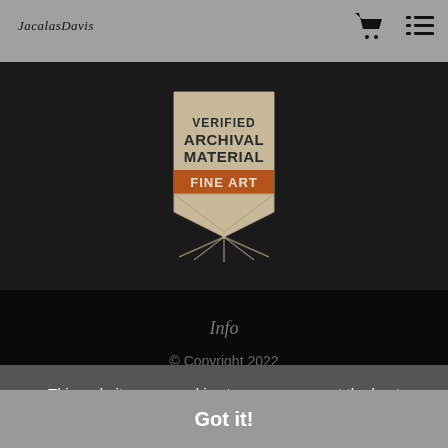JacalasDavis
[Figure (logo): Verified Archival Material Fine Art badge/seal with ribbon and rays, text in brown/dark on tan background]
Info
© Copyright 2022
This website uses cookies to ensure you get the best experience on our website. Learn More
Got it!